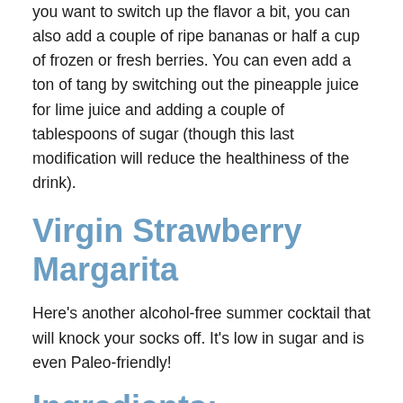you want to switch up the flavor a bit, you can also add a couple of ripe bananas or half a cup of frozen or fresh berries. You can even add a ton of tang by switching out the pineapple juice for lime juice and adding a couple of tablespoons of sugar (though this last modification will reduce the healthiness of the drink).
Virgin Strawberry Margarita
Here's another alcohol-free summer cocktail that will knock your socks off. It's low in sugar and is even Paleo-friendly!
Ingredients:
½ cup filtered water
1 lb. fresh strawberries (sliced and washed)